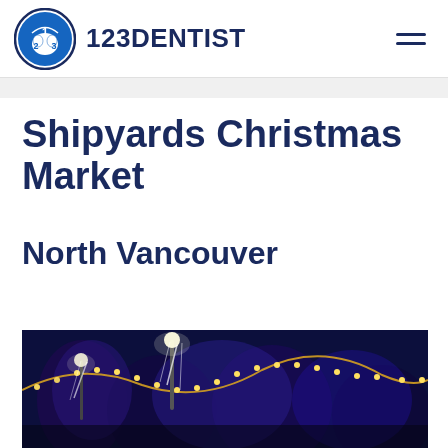123DENTIST
Shipyards Christmas Market
North Vancouver
[Figure (photo): Night photo of outdoor Christmas lights display with blue-lit trees and strings of golden lights hanging between poles, streetlights glowing in a wintry scene]